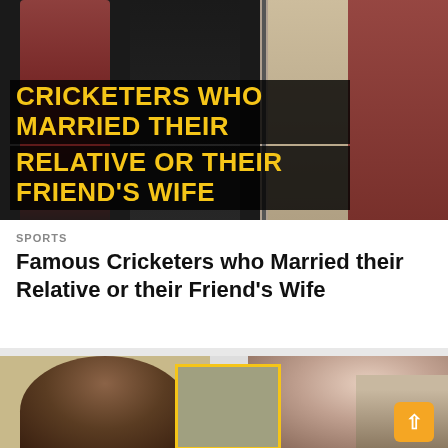[Figure (photo): Hero image showing cricketers in background with bold yellow text overlay reading CRICKETERS WHO MARRIED THEIR RELATIVE OR THEIR FRIEND'S WIFE]
SPORTS
Famous Cricketers who Married their Relative or their Friend's Wife
[Figure (photo): Bottom collage image showing three people portraits arranged side by side with a lightning bolt badge and an up arrow badge]